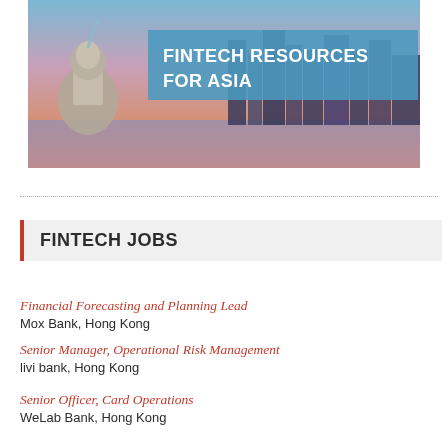[Figure (photo): City skyline at dusk with Merlion statue, overlaid with a blue banner reading 'FINTECH RESOURCES FOR ASIA']
FINTECH JOBS
Financial Forecasting and Planning Lead
Mox Bank, Hong Kong
Senior Manager, Operational Risk Management
livi bank, Hong Kong
Senior Officer, Card Operations
WeLab Bank, Hong Kong